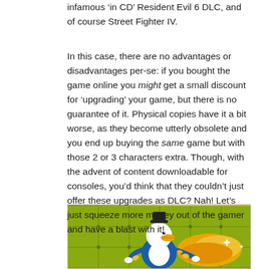infamous ‘in CD’ Resident Evil 6 DLC, and of course Street Fighter IV.
In this case, there are no advantages or disadvantages per-se: if you bought the game online you might get a small discount for ‘upgrading’ your game, but there is no guarantee of it. Physical copies have it a bit worse, as they become utterly obsolete and you end up buying the same game but with those 2 or 3 characters extra. Though, with the advent of content downloadable for consoles, you’d think that they couldn’t just offer these upgrades as DLC? Nah! Let’s just squeeze more money out of the gamer and have a blast with it!
[Figure (illustration): Cartoon duck (Scrooge McDuck style) swimming in or touching gold coins, on a yellow-green metallic vault background with sparkles]